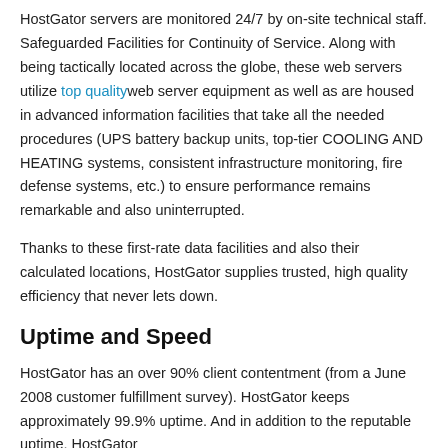HostGator servers are monitored 24/7 by on-site technical staff. Safeguarded Facilities for Continuity of Service. Along with being tactically located across the globe, these web servers utilize top quality web server equipment as well as are housed in advanced information facilities that take all the needed procedures (UPS battery backup units, top-tier COOLING AND HEATING systems, consistent infrastructure monitoring, fire defense systems, etc.) to ensure performance remains remarkable and also uninterrupted.
Thanks to these first-rate data facilities and also their calculated locations, HostGator supplies trusted, high quality efficiency that never lets down.
Uptime and Speed
HostGator has an over 90% client contentment (from a June 2008 customer fulfillment survey). HostGator keeps approximately 99.9% uptime. And in addition to the reputable uptime, HostGator